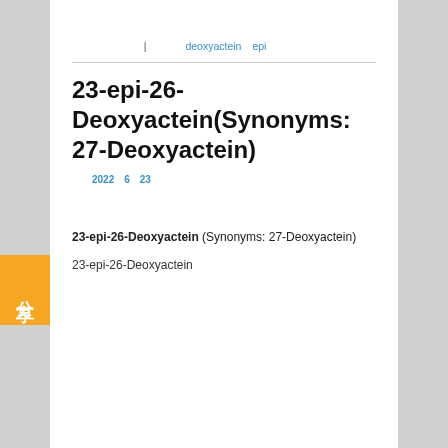〔〕〔〕〔〕〔〕〔〕〔〕〔〕〔〕〔〕〔〕〔〕〔〕〔〕〔〕〔〕〔〕〔〕
〔〕〔〕〔〕〔〕 | 〔〕〔〕 deoxyactein〔epi
23-epi-26-Deoxyactein(Synonyms: 27-Deoxyactein)
〔〕〔〕2022〔6〕23〔〕〔〕〔〕〔〕〔〕〔〕〔〕〔〕〔〕〔〕〔〕〔〕
〔〕〔〕〔〕〔〕〔〕〔〕〔〕〔〕〔〕〔〕〔〕〔〕〔〕〔〕〔〕〔〕〔〕〔〕〔〕〔〕〔〕〔〕〔〕〔〕〔〕〔〕〔〕〔〕〔〕〔〕〔〕〔〕〔〕〔〕〔〕〔〕〔〕〔〕〔〕〔〕〔〕〔〕〔〕〔〕〔〕〔〕〔〕〔〕〔〕〔〕〔〕〔〕〔〕〔〕〔〕〔〕〔〕〔〕〔〕〔〕〔〕〔〕〔〕〔〕〔〕〔〕〔〕〔〕〔〕〔〕
23-epi-26-Deoxyactein (Synonyms: 27-Deoxyactein)
23-epi-26-Deoxyactein 〔〕〔〕〔〕〔〕〔〕〔〕〔〕〔〕〔〕〔〕〔〕〔〕〔〕〔〕〔〕〔〕〔〕〔〕〔〕〔〕〔〕〔〕〔〕〔〕〔〕